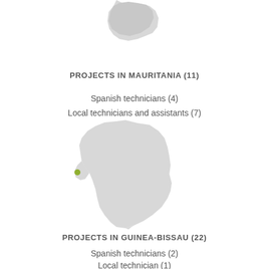[Figure (map): Map of Africa with Mauritania highlighted in light green/olive in the northwest region, rest of continent in light gray. Partial view at top.]
PROJECTS IN MAURITANIA (11)
Spanish technicians (4)
Local technicians and assistants (7)
[Figure (map): Map of Africa with Guinea-Bissau highlighted with a small green dot on the west coast, rest of continent in light gray.]
PROJECTS IN GUINEA-BISSAU (22)
Spanish technicians (2)
Local technician (1)